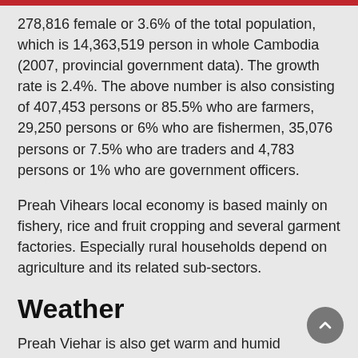278,816 female or 3.6% of the total population, which is 14,363,519 person in whole Cambodia (2007, provincial government data). The growth rate is 2.4%. The above number is also consisting of 407,453 persons or 85.5% who are farmers, 29,250 persons or 6% who are fishermen, 35,076 persons or 7.5% who are traders and 4,783 persons or 1% who are government officers.
Preah Vihears local economy is based mainly on fishery, rice and fruit cropping and several garment factories. Especially rural households depend on agriculture and its related sub-sectors.
Weather
Preah Viehar is also get warm and humid temperature with average temperature is about 27 degrees Celsius. The country enjoy tropical climate with warm and humid temperature. In the monsoon season, abundant rain allows for the cultivation